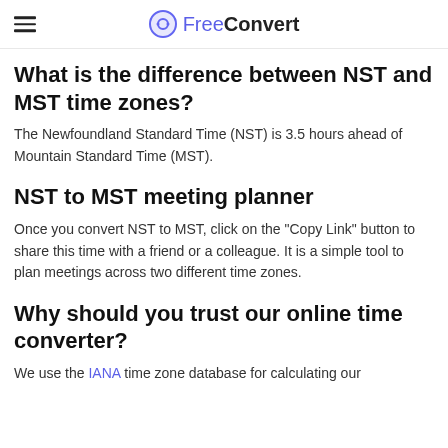FreeConvert
What is the difference between NST and MST time zones?
The Newfoundland Standard Time (NST) is 3.5 hours ahead of Mountain Standard Time (MST).
NST to MST meeting planner
Once you convert NST to MST, click on the "Copy Link" button to share this time with a friend or a colleague. It is a simple tool to plan meetings across two different time zones.
Why should you trust our online time converter?
We use the IANA time zone database for calculating our